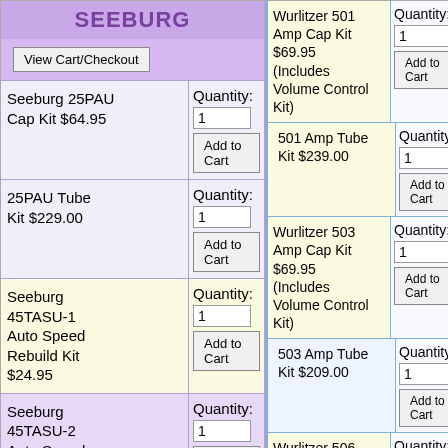SEEBURG
View Cart/Checkout
Seeburg 25PAU Cap Kit $64.95
25PAU Tube Kit $229.00
Seeburg 45TASU-1 Auto Speed Rebuild Kit $24.95
Seeburg 45TASU-2 Auto Speed Rebuild Kit $27.95
Wurlitzer 501 Amp Cap Kit $69.95 (Includes Volume Control Kit)
501 Amp Tube Kit $239.00
Wurlitzer 503 Amp Cap Kit $69.95 (Includes Volume Control Kit)
503 Amp Tube Kit $209.00
Wurlitzer 506 Amp (Model 1100) Cap Kit $69.95